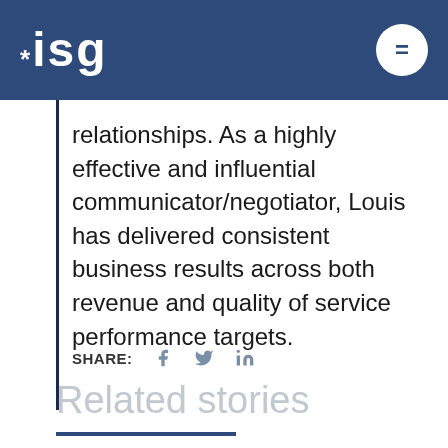ISG
relationships. As a highly effective and influential communicator/negotiator, Louis has delivered consistent business results across both revenue and quality of service performance targets.
SHARE:
Related stories